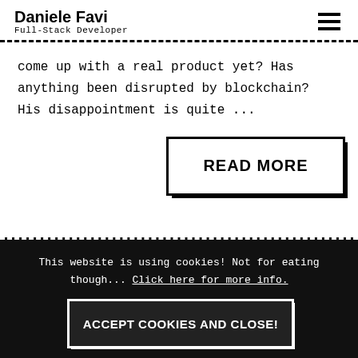Daniele Favi
Full-Stack Developer
come up with a real product yet? Has anything been disrupted by blockchain? His disappointment is quite ...
[Figure (other): READ MORE button with drop shadow effect]
This website is using cookies! Not for eating though... Click here for more info.
ACCEPT COOKIES AND CLOSE!